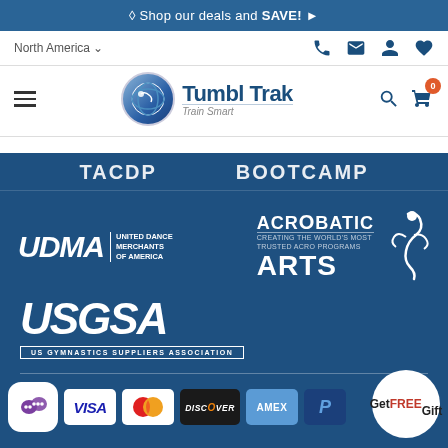Shop our deals and SAVE!
North America
[Figure (logo): Tumbl Trak Train Smart logo with circular emblem]
[Figure (logo): TACDP and BOOTCAMP partial logos on dark blue background]
[Figure (logo): UDMA United Dance Merchants of America logo]
[Figure (logo): Acrobatic Arts logo with gymnast silhouette]
[Figure (logo): USGSA US Gymnastics Suppliers Association logo]
[Figure (infographic): Payment method icons: chat, Visa, Mastercard, Discover, Amex, PayPal]
Get FREE Gift